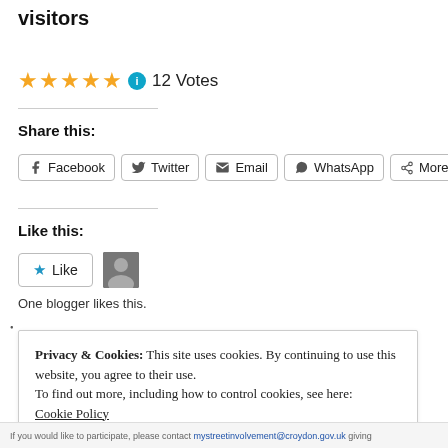visitors
12 Votes
Share this:
Facebook  Twitter  Email  WhatsApp  More
Like this:
Like
One blogger likes this.
Privacy & Cookies: This site uses cookies. By continuing to use this website, you agree to their use.
To find out more, including how to control cookies, see here: Cookie Policy
Close and accept
If you would like to participate, please contact mystreetinvolvement@croydon.gov.uk giving